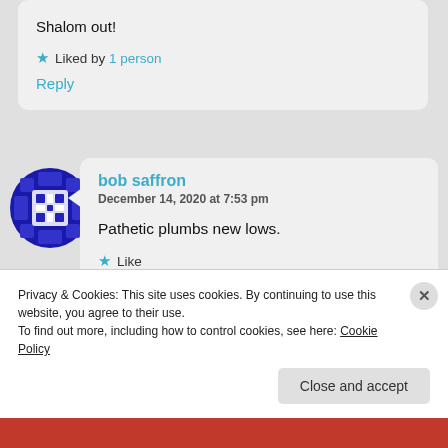Shalom out!
★ Liked by 1 person
Reply
[Figure (illustration): Blue geometric/snowflake avatar icon for user bob saffron]
bob saffron
December 14, 2020 at 7:53 pm
Pathetic plumbs new lows.
★ Like
Reply
Privacy & Cookies: This site uses cookies. By continuing to use this website, you agree to their use.
To find out more, including how to control cookies, see here: Cookie Policy
Close and accept